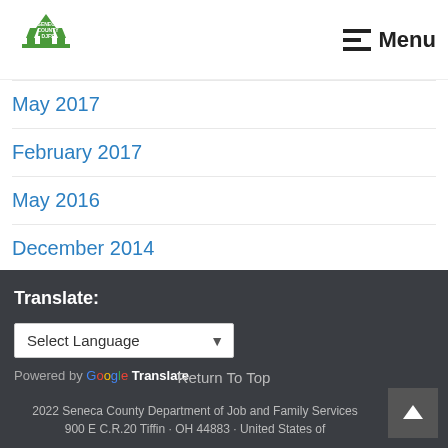Seneca County DJFS | Menu
May 2017
February 2017
May 2016
December 2014
Translate:
Select Language — Powered by Google Translate
Return To Top
2022 Seneca County Department of Job and Family Services
900 E C.R.20 Tiffin · OH 44883 · United States of